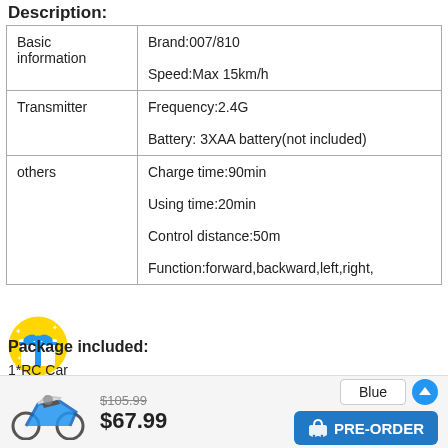Description:
| Basic information | Brand:007/810
Speed:Max 15km/h |
| Transmitter | Frequency:2.4G
Battery: 3XAA battery(not included) |
| others | Charge time:90min
Using time:20min
Control distance:50m
Function:forward,backward,left,right, |
[Figure (illustration): Yellow gift box icon with blue ribbon and white sparkles]
Package included:
1*RC Car
1*Controller
1*Rechargeable battery(built-in)
[Figure (photo): RC motorcycle toy image (small, at bottom left)]
$105.99
$67.99
Blue
PRE-ORDER